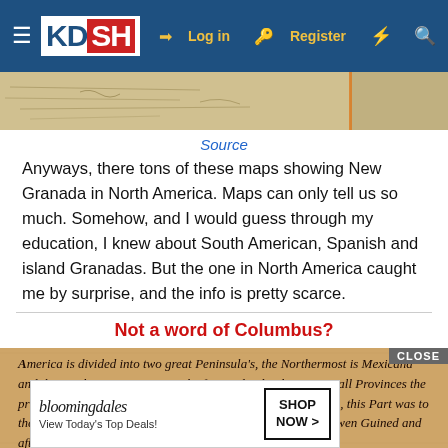KDSH — Log in | Register
[Figure (map): Partial view of an old historical map showing coastlines]
Source
Anyways, there tons of these maps showing New Granada in North America. Maps can only tell us so much. Somehow, and I would guess through my education, I knew about South American, Spanish and island Granadas. But the one in North America caught me by surprise, and the info is pretty scarce.
Not a word of Columbus?
[Figure (photo): Old text in historical italic script reading: America is divided into two great Peninsulas, the Northermost is Mexicana and the Southermost Peruana. The first is divided into severall Provinces the principall of which doth Homage to Great Britains Monarch, this Part was to the Honour of our Nation first discovered by Madoc son to Owen Guined and afterward by Sebastin Cabot at the char... ing Henry... vinces... whole...]
[Figure (infographic): Bloomingdales advertisement overlay: View Today's Top Deals! SHOP NOW > with CLOSE button]